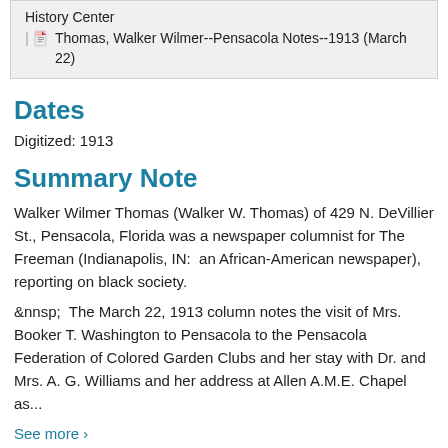History Center
| Thomas, Walker Wilmer--Pensacola Notes--1913 (March 22)
Dates
Digitized: 1913
Summary Note
Walker Wilmer Thomas (Walker W. Thomas) of 429 N. DeVillier St., Pensacola, Florida was a newspaper columnist for The Freeman (Indianapolis, IN:  an African-American newspaper), reporting on black society.
&nnsp; The March 22, 1913 column notes the visit of Mrs. Booker T. Washington to Pensacola to the Pensacola Federation of Colored Garden Clubs and her stay with Dr. and Mrs. A. G. Williams and her address at Allen A.M.E. Chapel as...
See more >